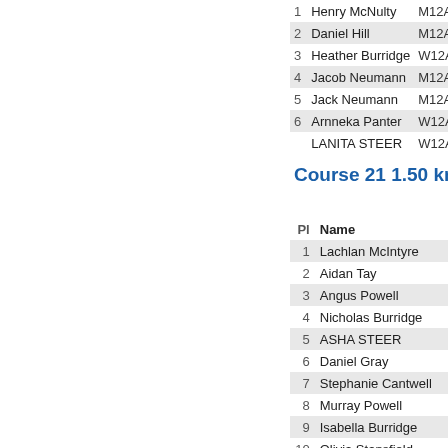| Pl | Name | Cat |
| --- | --- | --- |
| 1 | Henry McNulty | M12A |
| 2 | Daniel Hill | M12A |
| 3 | Heather Burridge | W12A |
| 4 | Jacob Neumann | M12A |
| 5 | Jack Neumann | M12A |
| 6 | Arnneka Panter | W12A |
|  | LANITA STEER | W12A |
Course 21 1.50 km S
| Pl | Name |
| --- | --- |
| 1 | Lachlan McIntyre |
| 2 | Aidan Tay |
| 3 | Angus Powell |
| 4 | Nicholas Burridge |
| 5 | ASHA STEER |
| 6 | Daniel Gray |
| 7 | Stephanie Cantwell |
| 8 | Murray Powell |
| 9 | Isabella Burridge |
| 10 | Olivia Stansfield |
| 11 | Joanna Hill |
| 12 | Rebecca Hyslop |
| 13 | Zoe BARKER-SMITH |